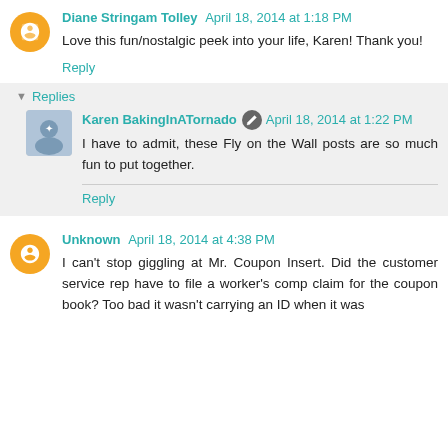Diane Stringam Tolley  April 18, 2014 at 1:18 PM
Love this fun/nostalgic peek into your life, Karen! Thank you!
Reply
Replies
Karen BakingInATornado  April 18, 2014 at 1:22 PM
I have to admit, these Fly on the Wall posts are so much fun to put together.
Reply
Unknown  April 18, 2014 at 4:38 PM
I can't stop giggling at Mr. Coupon Insert. Did the customer service rep have to file a worker's comp claim for the coupon book? Too bad it wasn't carrying an ID when it was